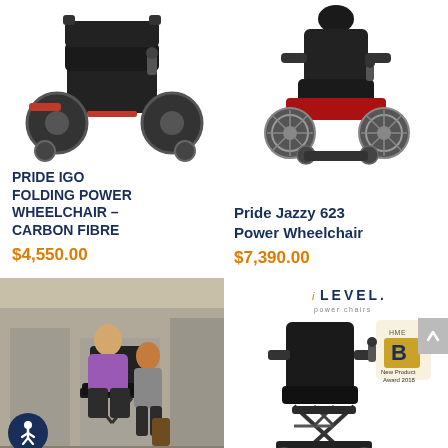[Figure (photo): Pride iGo Folding Power Wheelchair Carbon Fibre - black folding electric wheelchair on white background]
[Figure (photo): Pride Jazzy 623 Power Wheelchair - red and black power wheelchair on white background]
PRIDE IGO FOLDING POWER WHEELCHAIR – CARBON FIBRE
$4,550.00
Pride Jazzy 623 Power Wheelchair
$7,390.00
[Figure (photo): Two people (man in purple shirt and woman) sitting elevated outdoors in a city setting, demonstrating a power chair lift]
[Figure (photo): iLevel power chairs black power wheelchair with scissor lift mechanism; includes iLevel logo and HME B New Product Award 2018 badge]